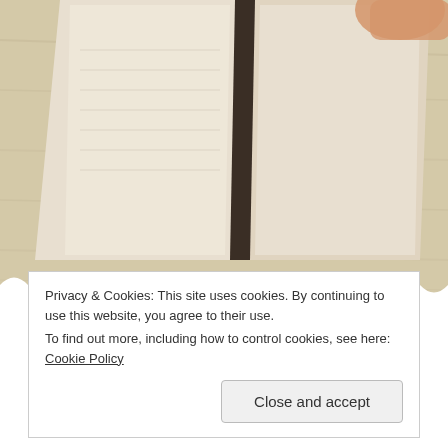[Figure (photo): Close-up photo of an open blank notebook/journal on a wooden surface, with a hand visible at the top right corner, photographed from above. The photo has scalloped/wavy white border at bottom.]
AUTHORS · BOOKS · UNCATEGORIZED
I Published My First Book – Now What?
Privacy & Cookies: This site uses cookies. By continuing to use this website, you agree to their use.
To find out more, including how to control cookies, see here: Cookie Policy
Close and accept